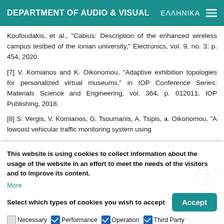DEPARTMENT OF AUDIO & VISUAL | ΕΛΛΗΝΙΚΑ
Koufoudakis, et al., "Cabius: Description of the enhanced wireless campus testbed of the ionian university," Electronics, vol. 9, no. 3, p. 454, 2020.
[7] V. Komianos and K. Oikonomou, "Adaptive exhibition topologies for personalized virtual museums," in IOP Conference Series: Materials Science and Engineering, vol. 364, p. 012011, IOP Publishing, 2018.
[8] S. Vergis, V. Komianos, G. Tsoumanis, A. Tsipis, a. Oikonomou, "A lowcost vehicular traffic monitoring system using
fog computing," Smart Cities, vol. 3, no. 1, pp. 138–156, 2020.
This website is using cookies to collect information about the usage of the website in an effort to meet the needs of the visitors and to improve its content.
More
Select which types of cookies you wish to accept
Necessary  Performance  Operation  Third Party
[11] A. Tsipis, K. Oikonomou, V. Komianos and I. Stavrakakis, "Con...